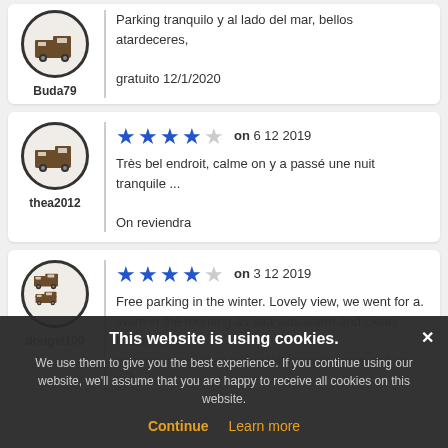Buda79 — Parking tranquilo y al lado del mar, bellos atardeceres, gratuito 12/1/2020
thea2012 — ★★★★☆ on 6 12 2019 — Très bel endroit, calme on y a passé une nuit tranquile ... On reviendra
dougel100 — ★★★★☆ on 3 12 2019 — Free parking in the winter. Lovely view, we went for a swim in the morning as sea was warm and clean. Noise from camper van guilted as we left, people come and go but
Cookie banner: This website is using cookies. We use them to give you the best experience. If you continue using our website, we'll assume that you are happy to receive all cookies on this website. Continue | Learn more